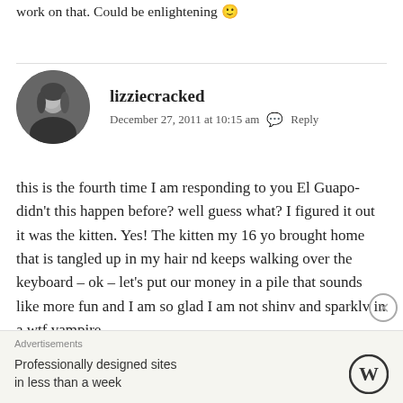work on that. Could be enlightening 🙂
lizziecracked
December 27, 2011 at 10:15 am  Reply
[Figure (photo): Black and white circular avatar photo of a person]
this is the fourth time I am responding to you El Guapo- didn't this happen before? well guess what? I figured it out it was the kitten. Yes! The kitten my 16 yo brought home that is tangled up in my hair nd keeps walking over the keyboard – ok – let's put our money in a pile that sounds like more fun and I am so glad I am not shinv and sparklv in a wtf vampire
Advertisements
Professionally designed sites in less than a week